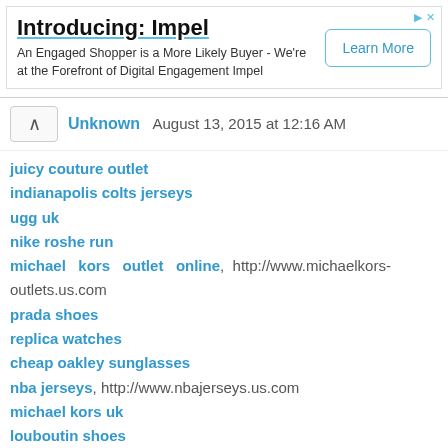[Figure (screenshot): Advertisement banner for 'Impel' with title 'Introducing: Impel', body text 'An Engaged Shopper is a More Likely Buyer - We're at the Forefront of Digital Engagement Impel', and a 'Learn More' button.]
Unknown  August 13, 2015 at 12:16 AM
juicy couture outlet
indianapolis colts jerseys
ugg uk
nike roshe run
michael kors outlet online, http://www.michaelkors-outlets.us.com
prada shoes
replica watches
cheap oakley sunglasses
nba jerseys, http://www.nbajerseys.us.com
michael kors uk
louboutin shoes
mcm bags
air jordan 13
ray ban sunglasses, http://www.raybansunglass.co.uk
lacoste shirts